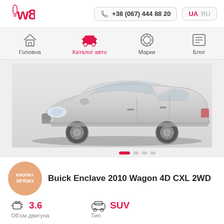[Figure (logo): w8 logo in red/pink]
+38 (067) 444 88 20
UA  RU
[Figure (infographic): Navigation bar with icons: Головна, Каталог авто, Марки, Блог]
[Figure (photo): Buick Enclave 2010 SUV silver car photo, front-side view]
Buick Enclave 2010 Wagon 4D CXL 2WD
3.6
Об'єм двигуна
SUV
Тип